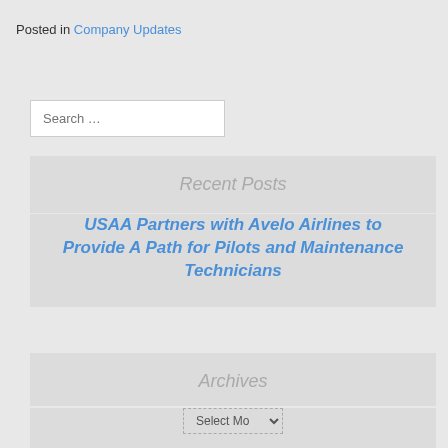Posted in Company Updates
Search …
Recent Posts
USAA Partners with Avelo Airlines to Provide A Path for Pilots and Maintenance Technicians
Archives
Select Mo